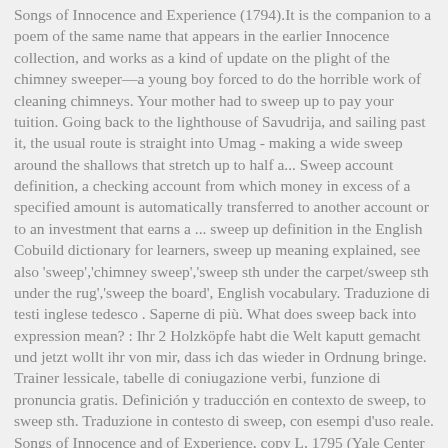Songs of Innocence and Experience (1794).It is the companion to a poem of the same name that appears in the earlier Innocence collection, and works as a kind of update on the plight of the chimney sweeper—a young boy forced to do the horrible work of cleaning chimneys. Your mother had to sweep up to pay your tuition. Going back to the lighthouse of Savudrija, and sailing past it, the usual route is straight into Umag - making a wide sweep around the shallows that stretch up to half a... Sweep account definition, a checking account from which money in excess of a specified amount is automatically transferred to another account or to an investment that earns a ... sweep up definition in the English Cobuild dictionary for learners, sweep up meaning explained, see also 'sweep','chimney sweep','sweep sth under the carpet/sweep sth under the rug','sweep the board', English vocabulary. Traduzione di testi inglese tedesco . Saperne di più. What does sweep back into expression mean? : Ihr 2 Holzköpfe habt die Welt kaputt gemacht und jetzt wollt ihr von mir, dass ich das wieder in Ordnung bringe. Trainer lessicale, tabelle di coniugazione verbi, funzione di pronuncia gratis. Definición y traducción en contexto de sweep, to sweep sth. Traduzione in contesto di sweep, con esempi d'uso reale. Songs of Innocence and of Experience, copy L, 1795 (Yale Center for British Art) object 41 The Chimney Sweeper "The Chimney Sweeper" is the title of a poem by William Blake, published